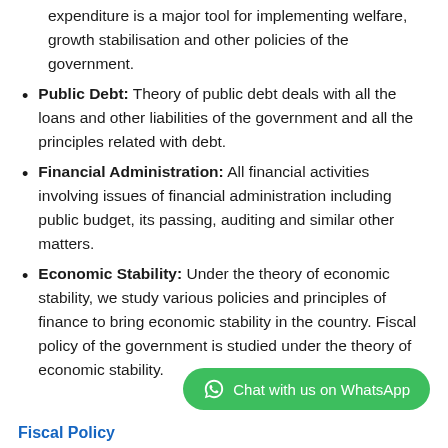expenditure is a major tool for implementing welfare, growth stabilisation and other policies of the government.
Public Debt: Theory of public debt deals with all the loans and other liabilities of the government and all the principles related with debt.
Financial Administration: All financial activities involving issues of financial administration including public budget, its passing, auditing and similar other matters.
Economic Stability: Under the theory of economic stability, we study various policies and principles of finance to bring economic stability in the country. Fiscal policy of the government is studied under the theory of economic stability.
Chat with us on WhatsApp
Fiscal Policy